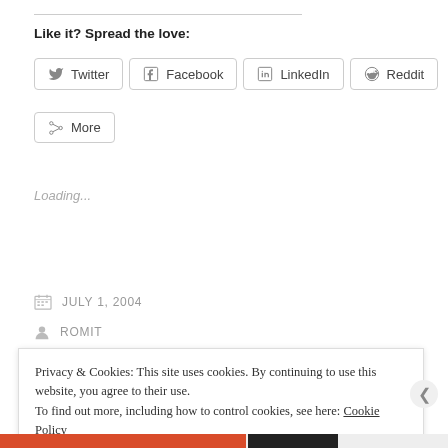Like it? Spread the love:
[Figure (other): Social share buttons: Twitter, Facebook, LinkedIn, Reddit, More]
Loading...
JULY 1, 2004
ROMIT
Privacy & Cookies: This site uses cookies. By continuing to use this website, you agree to their use. To find out more, including how to control cookies, see here: Cookie Policy
Close and accept